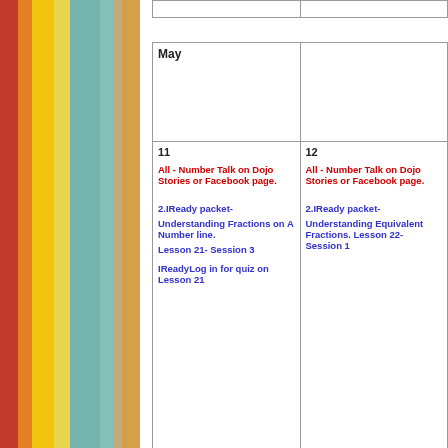[Figure (illustration): Colorful vertical stripes sidebar in red, orange, yellow, teal, and muted tones]
| May |  |
| --- | --- |
| 11
All - Number Talk on Dojo Stories or Facebook page.

2.IReady packet-
Understanding Fractions on A Number line.
Lesson 21- Session 3
IReadyLog in for quiz on Lesson 21 | 12
All - Number Talk on Dojo Stories or Facebook page.

2.IReady packet-
Understanding Equivalent Fractions. Lesson 22- Session 1 |